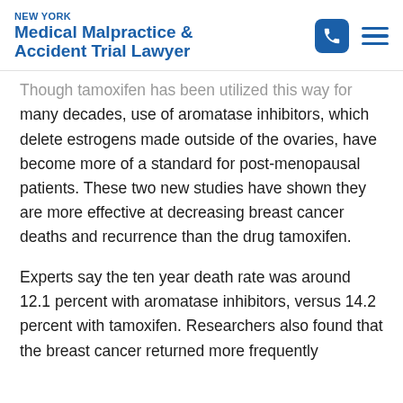NEW YORK Medical Malpractice & Accident Trial Lawyer
Though tamoxifen has been utilized this way for many decades, use of aromatase inhibitors, which delete estrogens made outside of the ovaries, have become more of a standard for post-menopausal patients. These two new studies have shown they are more effective at decreasing breast cancer deaths and recurrence than the drug tamoxifen.
Experts say the ten year death rate was around 12.1 percent with aromatase inhibitors, versus 14.2 percent with tamoxifen. Researchers also found that the breast cancer returned more frequently